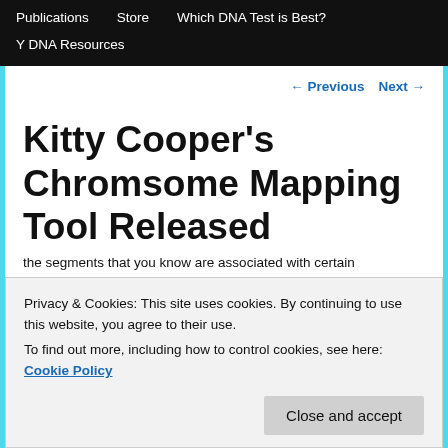Publications   Store   Which DNA Test is Best?   Y DNA Resources
← Previous   Next →
Kitty Cooper's Chromsome Mapping Tool Released
the segments that you know are associated with certain
Privacy & Cookies: This site uses cookies. By continuing to use this website, you agree to their use.
To find out more, including how to control cookies, see here: Cookie Policy